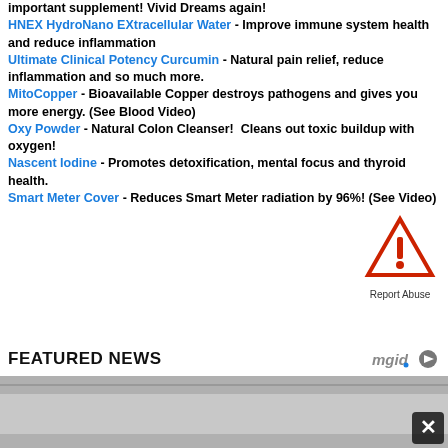important supplement! Vivid Dreams again! HNEX HydroNano EXtracellular Water - Improve immune system health and reduce inflammation. Ultimate Clinical Potency Curcumin - Natural pain relief, reduce inflammation and so much more. MitoCopper - Bioavailable Copper destroys pathogens and gives you more energy. (See Blood Video) Oxy Powder - Natural Colon Cleanser! Cleans out toxic buildup with oxygen! Nascent Iodine - Promotes detoxification, mental focus and thyroid health. Smart Meter Cover - Reduces Smart Meter radiation by 96%! (See Video)
[Figure (illustration): Red triangle warning/report abuse icon with exclamation mark and text 'Report Abuse']
FEATURED NEWS
[Figure (logo): mgid logo with play button icon]
[Figure (photo): Bottom strip showing partial image content with a close/X button in the bottom right corner]